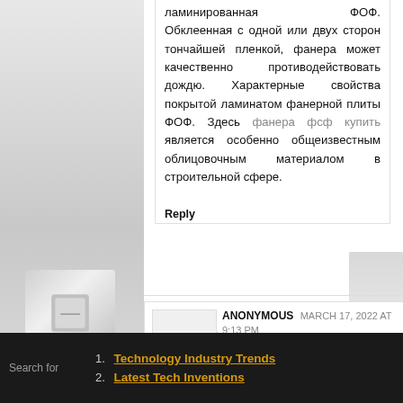ламинированная ФОФ. Обклеенная с одной или двух сторон тончайшей пленкой, фанера может качественно противодействовать дождю. Характерные свойства покрытой ламинатом фанерной плиты ФОФ. Здесь фанера фсф купить является особенно общеизвестным облицовочным материалом в строительной сфере.
Reply
ANONYMOUS  MARCH 17, 2022 AT 9:13 PM
При расчете за продукцию hydra рабочий, в общем случае, применяют виртуальный
1. Technology Industry Trends
2. Latest Tech Inventions